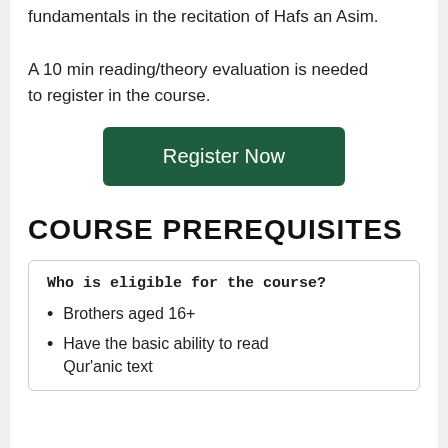fundamentals in the recitation of Hafs an Asim. A 10 min reading/theory evaluation is needed to register in the course.
[Figure (other): Green 'Register Now' button]
COURSE PREREQUISITES
Who is eligible for the course?
Brothers aged 16+
Have the basic ability to read Qur'anic text